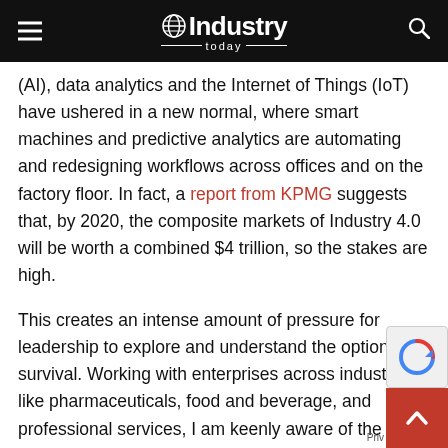Industry Today
(AI), data analytics and the Internet of Things (IoT) have ushered in a new normal, where smart machines and predictive analytics are automating and redesigning workflows across offices and on the factory floor. In fact, a report from KPMG suggests that, by 2020, the composite markets of Industry 4.0 will be worth a combined $4 trillion, so the stakes are high.
This creates an intense amount of pressure for leadership to explore and understand the options for survival. Working with enterprises across industries like pharmaceuticals, food and beverage, and professional services, I am keenly aware of the steps businesses to take to not only keep up with but stay ahead of the competition. Here are four ways for businesses to do just